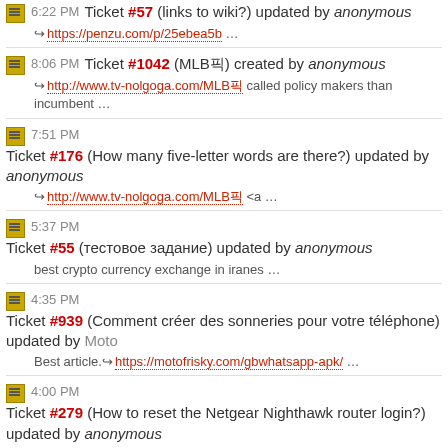6:22 PM Ticket #57 (links to wiki?) updated by anonymous
→ https://penzu.com/p/25ebea5b …
8:06 PM Ticket #1042 (MLB픽) created by anonymous
→ http://www.tv-nolgoga.com/MLB픽 called policy makers than incumbent …
7:51 PM Ticket #176 (How many five-letter words are there?) updated by anonymous
→ http://www.tv-nolgoga.com/MLB픽 <a …
5:37 PM Ticket #55 (тестовое задание) updated by anonymous
best crypto currency exchange in iranes …
4:35 PM Ticket #939 (Comment créer des sonneries pour votre téléphone) updated by Moto
Best article.→ https://motofrisky.com/gbwhatsapp-apk/ …
4:00 PM Ticket #279 (How to reset the Netgear Nighthawk router login?) updated by anonymous
I am hoping the same best effort from you in the future as well. In …